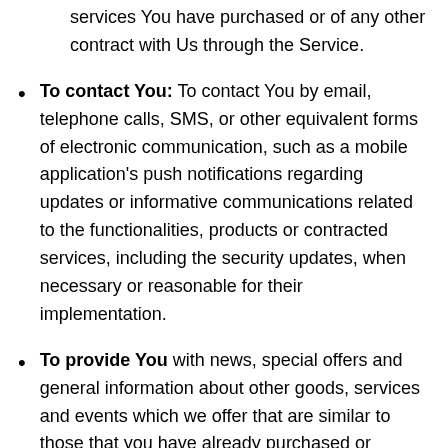services You have purchased or of any other contract with Us through the Service.
To contact You: To contact You by email, telephone calls, SMS, or other equivalent forms of electronic communication, such as a mobile application's push notifications regarding updates or informative communications related to the functionalities, products or contracted services, including the security updates, when necessary or reasonable for their implementation.
To provide You with news, special offers and general information about other goods, services and events which we offer that are similar to those that you have already purchased or enquired about unless You have opted not to receive such.